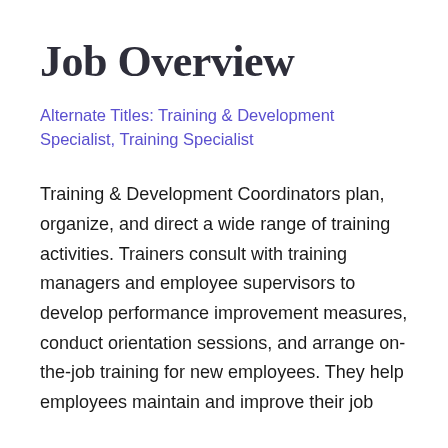Job Overview
Alternate Titles: Training & Development Specialist, Training Specialist
Training & Development Coordinators plan, organize, and direct a wide range of training activities. Trainers consult with training managers and employee supervisors to develop performance improvement measures, conduct orientation sessions, and arrange on-the-job training for new employees. They help employees maintain and improve their job